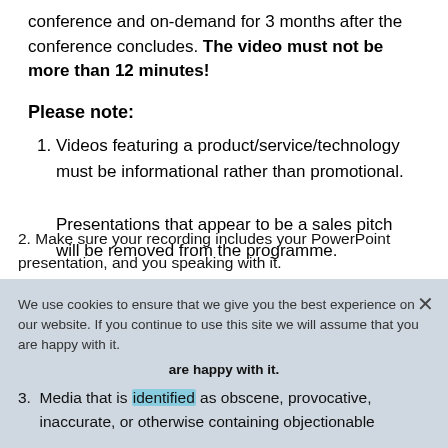conference and on-demand for 3 months after the conference concludes. The video must not be more than 12 minutes!
Please note:
Videos featuring a product/service/technology must be informational rather than promotional. Presentations that appear to be a sales pitch will be removed from the programme.
Make sure your recording includes your PowerPoint presentation, and you speaking with it.
Media that is identified as obscene, provocative, inaccurate, or otherwise containing objectionable
We use cookies to ensure that we give you the best experience on our website. If you continue to use this site we will assume that you are happy with it.